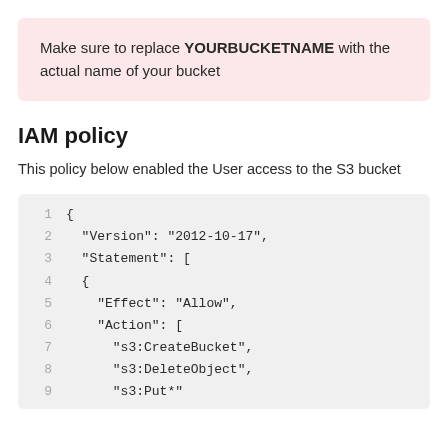Make sure to replace YOURBUCKETNAME with the actual name of your bucket
IAM policy
This policy below enabled the User access to the S3 bucket
1  {
2    "Version": "2012-10-17",
3    "Statement": [
4    {
5      "Effect": "Allow",
6      "Action": [
7        "s3:CreateBucket",
8        "s3:DeleteObject",
9        "s3:Put*"